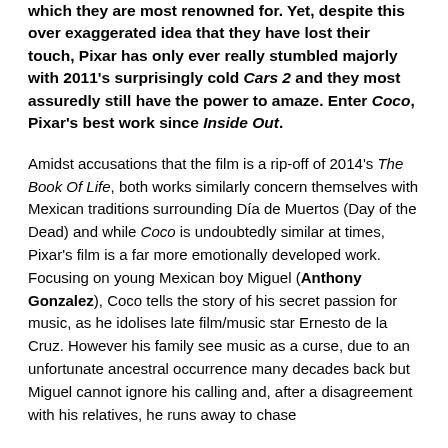which they are most renowned for. Yet, despite this over exaggerated idea that they have lost their touch, Pixar has only ever really stumbled majorly with 2011's surprisingly cold Cars 2 and they most assuredly still have the power to amaze. Enter Coco, Pixar's best work since Inside Out.
Amidst accusations that the film is a rip-off of 2014's The Book Of Life, both works similarly concern themselves with Mexican traditions surrounding Día de Muertos (Day of the Dead) and while Coco is undoubtedly similar at times, Pixar's film is a far more emotionally developed work. Focusing on young Mexican boy Miguel (Anthony Gonzalez), Coco tells the story of his secret passion for music, as he idolises late film/music star Ernesto de la Cruz. However his family see music as a curse, due to an unfortunate ancestral occurrence many decades back but Miguel cannot ignore his calling and, after a disagreement with his relatives, he runs away to chase